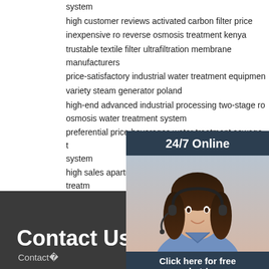system
high customer reviews activated carbon filter price
inexpensive ro reverse osmosis treatment kenya
trustable textile filter ultrafiltration membrane manufacturers
price-satisfactory industrial water treatment equipment
variety steam generator poland
high-end advanced industrial processing two-stage ro osmosis water treatment system
preferential price beverages water treatment sewage treatment system
high sales apartments water treatment sewage treatment
wear-resistant reverse osmosis ro water treatment and
well ultrafiltration water treatment equipment poland
customer approved laboratory edi electric desalination
[Figure (illustration): Customer support representative with headset, with overlay text '24/7 Online', 'Click here for free chat!', and orange QUOTATION button on dark navy background]
Contact Us
Contact￼